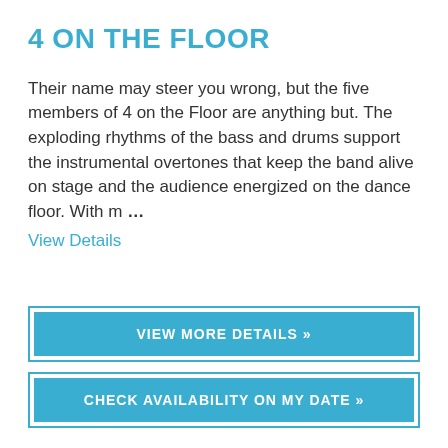4 ON THE FLOOR
Their name may steer you wrong, but the five members of 4 on the Floor are anything but. The exploding rhythms of the bass and drums support the instrumental overtones that keep the band alive on stage and the audience energized on the dance floor. With m …
View Details
VIEW MORE DETAILS »
CHECK AVAILABILITY ON MY DATE »